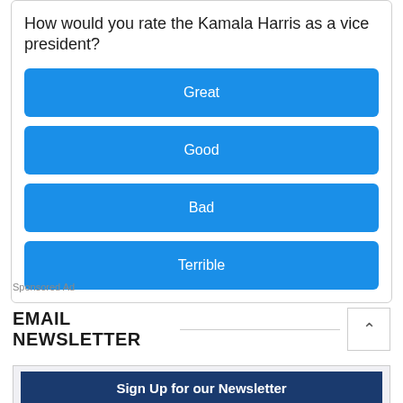How would you rate the Kamala Harris as a vice president?
Great
Good
Bad
Terrible
Sponsored Ad
EMAIL NEWSLETTER
Sign Up for our Newsletter